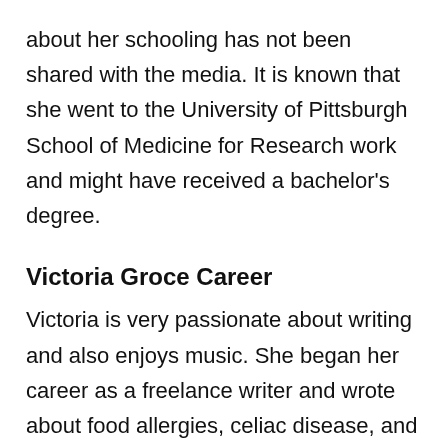about her schooling has not been shared with the media. It is known that she went to the University of Pittsburgh School of Medicine for Research work and might have received a bachelor's degree.
Victoria Groce Career
Victoria is very passionate about writing and also enjoys music. She began her career as a freelance writer and wrote about food allergies, celiac disease, and food-restricted eating for Verywell Fit. Along with that she also wrote on